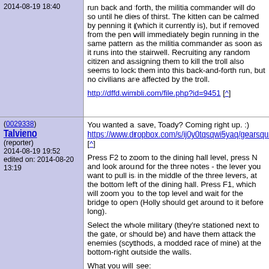2014-08-19 18:40
run back and forth, the militia commander will do so until he dies of thirst. The kitten can be calmed by penning it (which it currently is), but if removed from the pen will immediately begin running in the same pattern as the militia commander as soon as it runs into the stairwell. Recruiting any random citizen and assigning them to kill the troll also seems to lock them into this back-and-forth run, but no civilians are affected by the troll.

http://dffd.wimbli.com/file.php?id=9451 [^]
(0029338) Talvieno (reporter) 2014-08-19 19:52 edited on: 2014-08-20 13:19
You wanted a save, Toady? Coming right up. :)
https://www.dropbox.com/s/ij0y0tqsqwi5yaq/gearsquared. [^]

Press F2 to zoom to the dining hall level, press N and look around for the three notes - the lever you want to pull is in the middle of the three levers, at the bottom left of the dining hall. Press F1, which will zoom you to the top level and wait for the bridge to open (Holly should get around to it before long).

Select the whole military (they're stationed next to the gate, or should be) and have them attack the enemies (scythods, a modded race of mine) at the bottom-right outside the walls.

What you will see:
1. Dwarves rushing out with weapons drawn
2. A hail of arrows